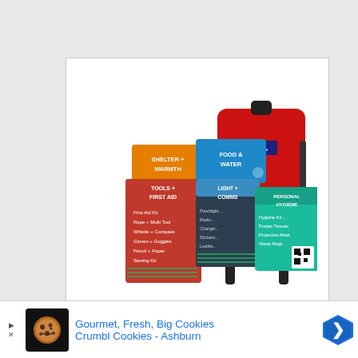[Figure (photo): Product photo of Complete Earthquake Bag emergency kit — multiple colored supply pouches (orange Shelter+Warmth, blue Food+Water, red Tools+First Aid, dark Personal Hygiene packs) arranged in front of a red backpack with black straps and zipper]
Complete Earthquake Bag - Emergency kit for...
[Figure (infographic): Advertisement banner for Crumbl Cookies - Ashburn with cookie logo icon, text 'Gourmet, Fresh, Big Cookies' and 'Crumbl Cookies - Ashburn', blue navigation arrow badge on right, play/close controls on left]